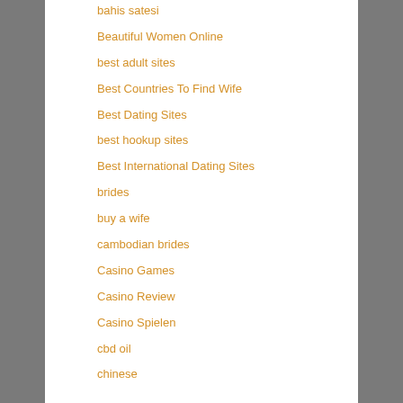bahis satesi
Beautiful Women Online
best adult sites
Best Countries To Find Wife
Best Dating Sites
best hookup sites
Best International Dating Sites
brides
buy a wife
cambodian brides
Casino Games
Casino Review
Casino Spielen
cbd oil
chinese